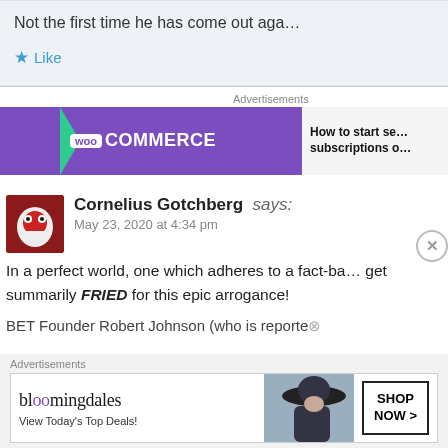Not the first time he has come out aga…
Like
[Figure (screenshot): WooCommerce advertisement banner - purple background with WooCommerce logo and arrow, text: How to start se… subscriptions o…]
Cornelius Gotchberg says:
May 23, 2020 at 4:34 pm
In a perfect world, one which adheres to a fact-bas… get summarily FRIED for this epic arrogance!
BET Founder Robert Johnson (who is reported…
[Figure (screenshot): Bloomingdale's advertisement - bloomingdales logo, View Today's Top Deals!, woman with hat, SHOP NOW >]